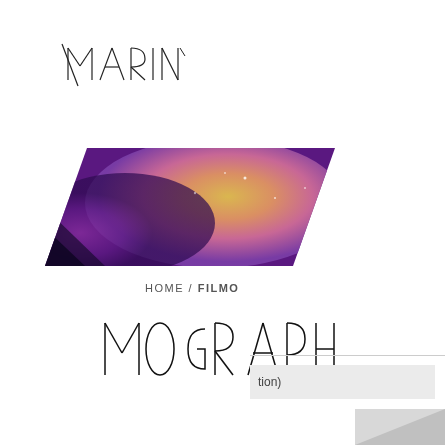[Figure (logo): MARIN logo text in thin geometric/decorative font, top-left corner]
[Figure (photo): Parallelogram-shaped image showing a cosmic/nebula scene with purple and yellow/orange colors, positioned in upper-left area]
HOME / FILMO
MOGRAPH
[Figure (screenshot): Partial UI panel in bottom-right showing a light gray bar with text 'tion)' and a gray folded corner element below it]